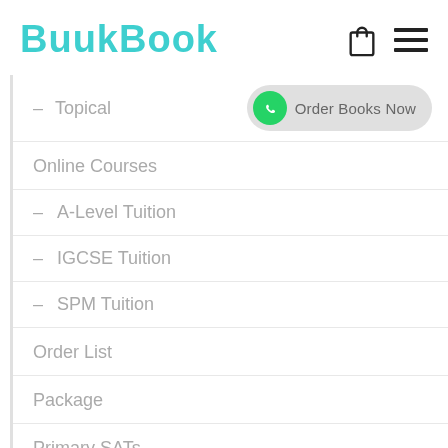BuukBook
– Topical
Online Courses
– A-Level Tuition
– IGCSE Tuition
– SPM Tuition
Order List
Package
Primary SATs
– Year 3 to 5